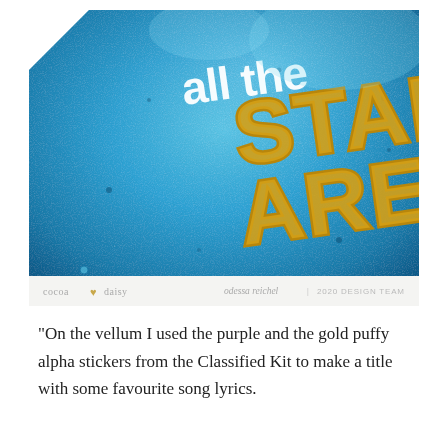[Figure (photo): Close-up photo of a crafting project on a bright blue watercolor/textured background. White lowercase letters reading 'all the' are visible in the center, and large gold metallic puffy letters spelling 'STARS ARE' partially visible on the right side. The image has a slight diagonal angle. At the bottom of the image, branding text reads 'cocoa daisy' on the left with a small heart icon, and 'odessa reichel | 2020 DESIGN TEAM' on the right.]
“On the vellum I used the purple and the gold puffy alpha stickers from the Classified Kit to make a title with some favourite song lyrics.